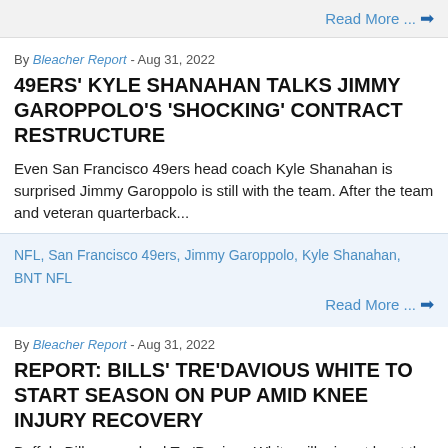Read More ...
By Bleacher Report - Aug 31, 2022
49ERS' KYLE SHANAHAN TALKS JIMMY GAROPPOLO'S 'SHOCKING' CONTRACT RESTRUCTURE
Even San Francisco 49ers head coach Kyle Shanahan is surprised Jimmy Garoppolo is still with the team. After the team and veteran quarterback...
NFL, San Francisco 49ers, Jimmy Garoppolo, Kyle Shanahan, BNT NFL
Read More ...
By Bleacher Report - Aug 31, 2022
REPORT: BILLS' TRE'DAVIOUS WHITE TO START SEASON ON PUP AMID KNEE INJURY RECOVERY
Buffalo Bills cornerback Tre'Davious White will miss at least the first